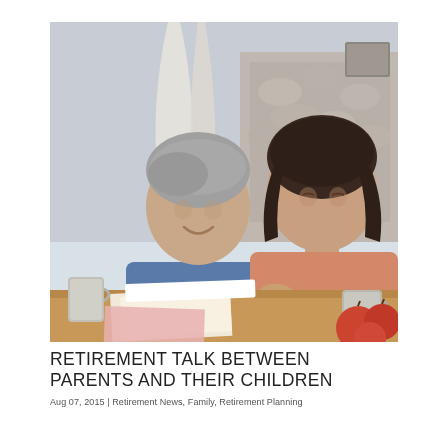[Figure (photo): An older man in a blue shirt and a younger woman in an orange/salmon sweater sitting together at a table, reviewing documents. Coffee mugs and papers are on the table. A fireplace and window are visible in the background. Apples are visible in the foreground right.]
RETIREMENT TALK BETWEEN PARENTS AND THEIR CHILDREN
Aug 07, 2015 | Retirement News, Family, Retirement Planning